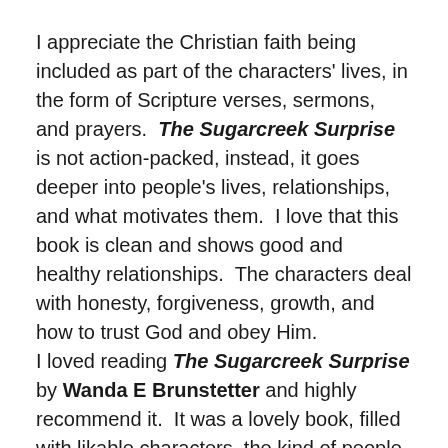I appreciate the Christian faith being included as part of the characters' lives, in the form of Scripture verses, sermons, and prayers.  The Sugarcreek Surprise is not action-packed, instead, it goes deeper into people's lives, relationships, and what motivates them.  I love that this book is clean and shows good and healthy relationships.  The characters deal with honesty, forgiveness, growth, and how to trust God and obey Him.
I loved reading The Sugarcreek Surprise by Wanda E Brunstetter and highly recommend it.  It was a lovely book, filled with likable characters, the kind of people you would want to know.  Wanda E Brunstetter is the kind of writer that makes me want to read all her books.
I would like to thank Barbour Publishing and NetGalley